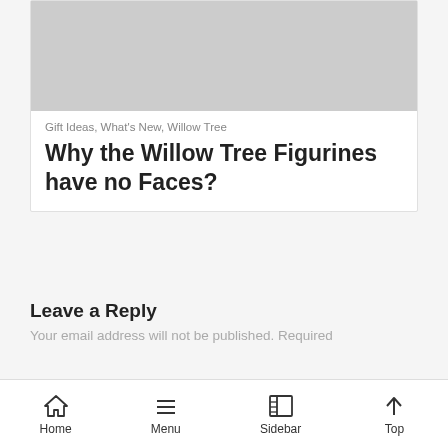[Figure (photo): Gray placeholder image at top of article card]
Gift Ideas, What's New, Willow Tree
Why the Willow Tree Figurines have no Faces?
Leave a Reply
Your email address will not be published. Required
Home  Menu  Sidebar  Top